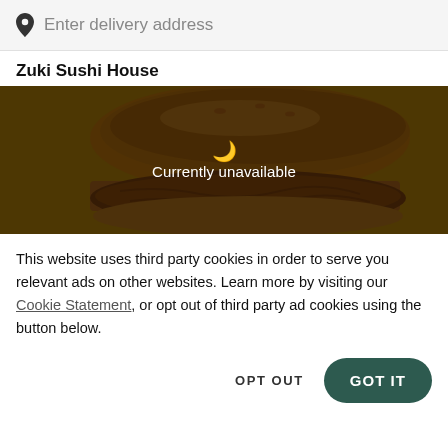Enter delivery address
Zuki Sushi House
[Figure (photo): A burger/sandwich with a fried chicken patty on a yellow background, overlaid with a dark semi-transparent layer showing a moon icon and the text 'Currently unavailable']
This website uses third party cookies in order to serve you relevant ads on other websites. Learn more by visiting our Cookie Statement, or opt out of third party ad cookies using the button below.
OPT OUT  GOT IT